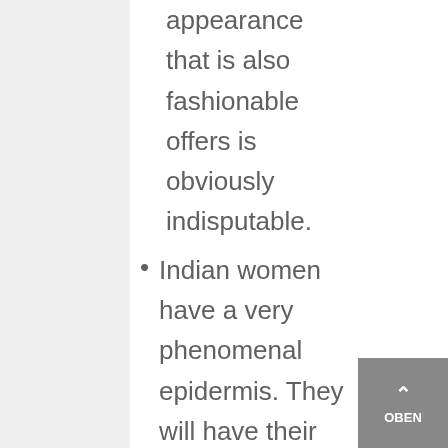appearance that is also fashionable offers is obviously indisputable.
Indian women have a very phenomenal epidermis. They will have their temples considerable, dense, hefty brows, shiners, totally